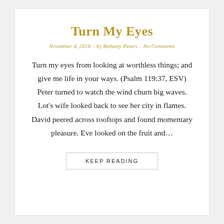Turn My Eyes
November 4, 2018  -  by Bethany Peters  -  No Comments
Turn my eyes from looking at worthless things; and give me life in your ways. (Psalm 119:37, ESV) Peter turned to watch the wind churn big waves. Lot’s wife looked back to see her city in flames. David peered across rooftops and found momentary pleasure. Eve looked on the fruit and…
KEEP READING